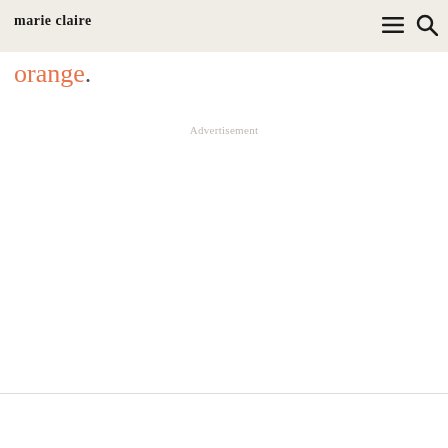marie claire
orange.
Advertisement